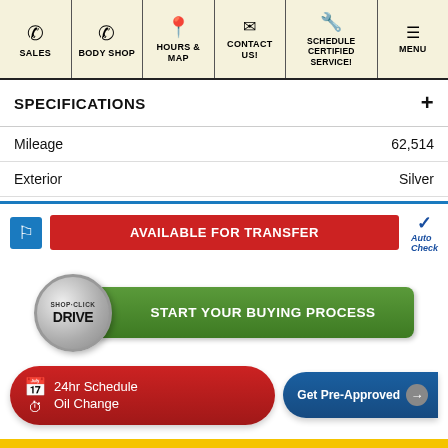SALES | BODY SHOP | HOURS & MAP | CONTACT US! | SCHEDULE CERTIFIED SERVICE! | MENU
SPECIFICATIONS
| Field | Value |
| --- | --- |
| Mileage | 62,514 |
| Exterior | Silver |
[Figure (infographic): Accessibility icon (blue), AVAILABLE FOR TRANSFER red button, AutoCheck logo]
[Figure (infographic): Shop·Click Drive circle badge with green START YOUR BUYING PROCESS button]
[Figure (infographic): 24hr Schedule Oil Change red rounded button and Get Pre-Approved blue button]
[Figure (infographic): Yellow strip at bottom of page]